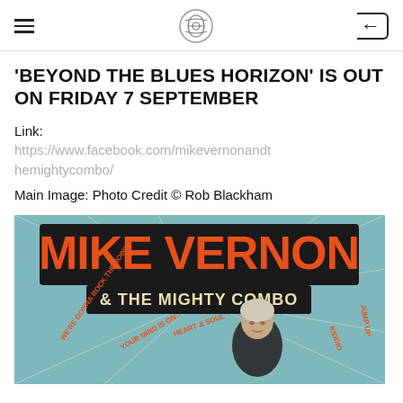[hamburger menu] [logo] [back button]
'BEYOND THE BLUES HORIZON' IS OUT ON FRIDAY 7 SEPTEMBER
Link:
https://www.facebook.com/mikevernonandthemightycombo/
Main Image: Photo Credit © Rob Blackham
[Figure (illustration): Album/promotional artwork for Mike Vernon & The Mighty Combo showing the band name in large orange letters on a teal background, with a portrait photo of an older man and song title text radiating outward]